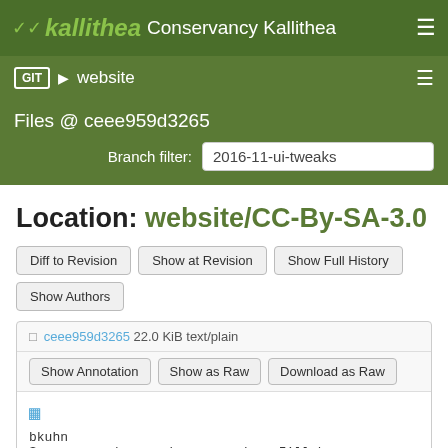kallithea Conservancy Kallithea
GIT  ❯  website
Files @ ceee959d3265
Branch filter: 2016-11-ui-tweaks
Location: website/CC-By-SA-3.0
Diff to Revision
Show at Revision
Show Full History
Show Authors
ceee959d3265 22.0 KiB text/plain
Show Annotation
Show as Raw
Download as Raw
bkuhn
Sponsors: ok, somehow, someday, I'll have this file name right.